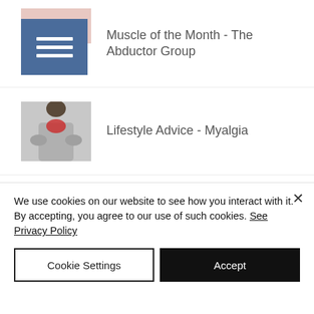Muscle of the Month - The Abductor Group
Lifestyle Advice - Myalgia
Muscle of the Month - Latissimus Dorsi
We use cookies on our website to see how you interact with it. By accepting, you agree to our use of such cookies. See Privacy Policy
Cookie Settings
Accept